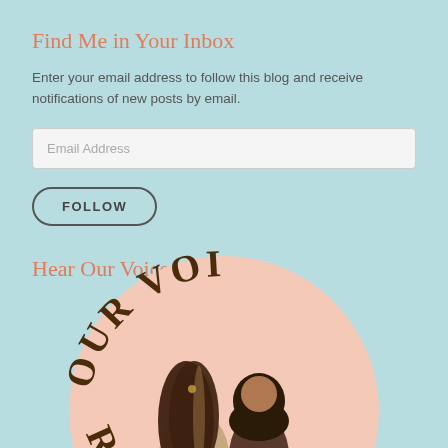Find Me in Your Inbox
Enter your email address to follow this blog and receive notifications of new posts by email.
Email Address
FOLLOW
Hear Our Voices
[Figure (illustration): Circular logo/illustration with text 'OUR VOICES' (partially visible as 'OUR VOI' and 'R VOIC') arched around the top and bottom of a pink circle. Inside are two illustrated women seen from behind with dark hair, one with long straight hair and one with shorter curly hair, standing together.]